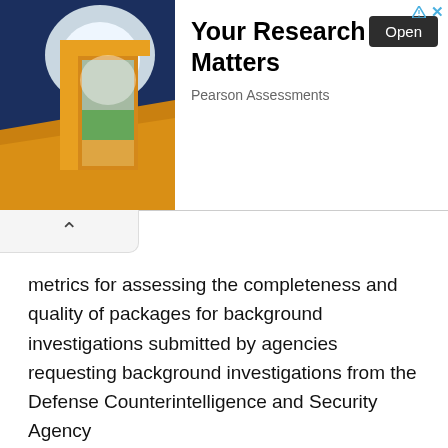[Figure (screenshot): Advertisement banner: image of an open door with golden light and landscape visible through it, on a dark blue background. Text reads 'Your Research Matters', subtext 'Pearson Assessments', with an 'Open' button. AdChoices icon visible top right.]
metrics for assessing the completeness and quality of packages for background investigations submitted by agencies requesting background investigations from the Defense Counterintelligence and Security Agency
rejection rates of background investigation submission packages due to incomplete or erroneous data, by agency and